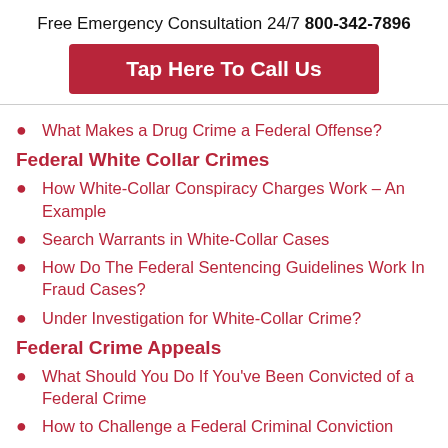Free Emergency Consultation 24/7 800-342-7896
Tap Here To Call Us
What Makes a Drug Crime a Federal Offense?
Federal White Collar Crimes
How White-Collar Conspiracy Charges Work – An Example
Search Warrants in White-Collar Cases
How Do The Federal Sentencing Guidelines Work In Fraud Cases?
Under Investigation for White-Collar Crime?
Federal Crime Appeals
What Should You Do If You've Been Convicted of a Federal Crime
How to Challenge a Federal Criminal Conviction